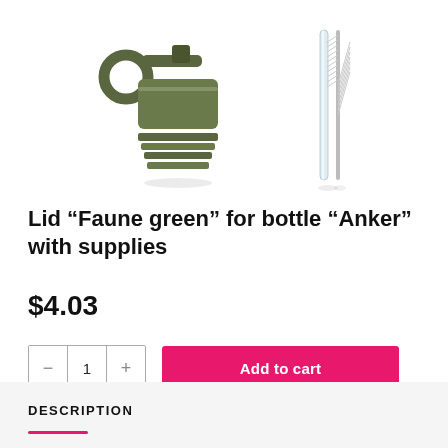[Figure (photo): Product images: an olive/army green bottle lid with flip-top and loop ring (left), and a clear straw with cleaning brush (right)]
Lid “Faune green” for bottle “Anker” with supplies
$4.03
- 1 + Add to cart
DESCRIPTION